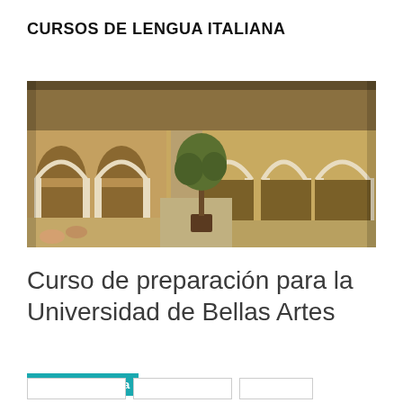CURSOS DE LENGUA ITALIANA
[Figure (photo): Photograph of an Italian university courtyard with white arched colonnades, terracotta building facades, a potted olive tree in the center, and people sitting in the courtyard]
Curso de preparación para la Universidad de Bellas Artes
Inscríbete ahora